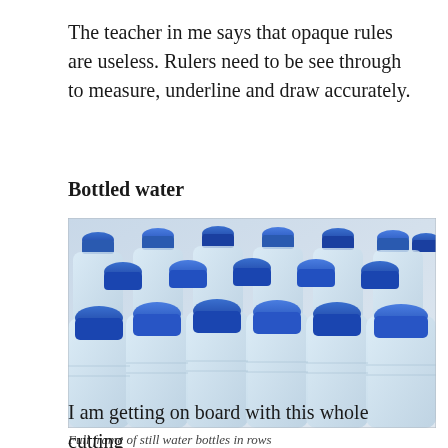The teacher in me says that opaque rules are useless. Rulers need to be see through to measure, underline and draw accurately.
Bottled water
[Figure (photo): Full frame photograph of many clear plastic water bottles with blue caps arranged in rows, filling the entire frame.]
Full frame of still water bottles in rows
I am getting on board with this whole cutting